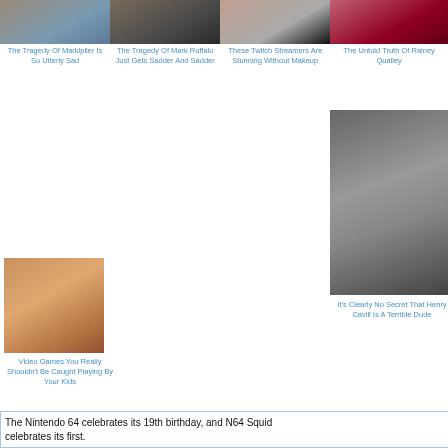[Figure (photo): Partial face photo of Markiplier]
The Tragedy Of Markiplier Is So Utterly Sad
[Figure (photo): Partial face photo of Mark Ruffalo]
The Tragedy Of Mark Ruffalo Just Gets Sadder And Sadder
[Figure (photo): Partial face photo of Twitch streamers]
These Twitch Streamers Are Stunning Without Makeup
[Figure (photo): Partial face photo, red outfit]
The Untold Truth Of Rainey Qualley
[Figure (photo): Photo of Henry Cavill with mustache]
It's Clearly No Secret That Henry Cavill Is A Terrible Dude
[Figure (illustration): 3D rendered cartoon girl with brown hair]
Video Games You Really Shouldn't Be Caught Playing By Your Kids
The Nintendo 64 celebrates its 19th birthday, and N64 Squid celebrates its first.